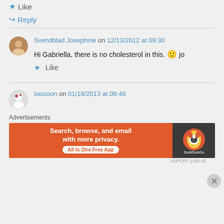★ Like
↪ Reply
Svendblad Josephine on 12/13/2012 at 09:30
Hi Gabriella, there is no cholesterol in this. 🙂 jo
★ Like
looooon on 01/18/2013 at 08:46
Advertisements
[Figure (screenshot): DuckDuckGo advertisement banner: 'Search, browse, and email with more privacy. All in One Free App' with DuckDuckGo logo on dark background.]